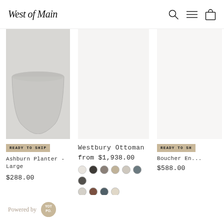West of Main
[Figure (photo): Gray ceramic Ashburn Planter - Large product photo]
READY TO SHIP
Ashburn Planter - Large
$288.00
[Figure (photo): Westbury Ottoman product photo on light background]
Westbury Ottoman
from $1,938.00
[Figure (photo): Color swatches for Westbury Ottoman in multiple colors]
[Figure (photo): Boucher End table product photo, partially cropped]
READY TO SHIP
Boucher En...
$588.00
Powered by YOTPO